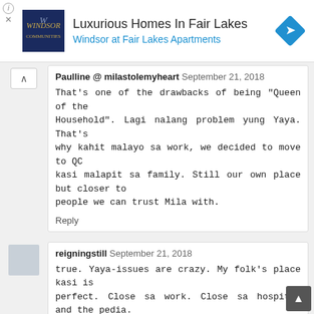[Figure (screenshot): Advertisement banner for Windsor at Fair Lakes Apartments showing logo, heading 'Luxurious Homes In Fair Lakes', subtext 'Windsor at Fair Lakes Apartments', and a blue navigation icon]
Paulline @ milastolemyheart  September 21, 2018

That's one of the drawbacks of being "Queen of the Household". Lagi nalang problem yung Yaya. That's why kahit malayo sa work, we decided to move to QC kasi malapit sa family. Still our own place but closer to people we can trust Mila with.

Reply
reigningstill  September 21, 2018

true. Yaya-issues are crazy. My folk's place kasi is perfect. Close sa work. Close sa hospital and the pedia. We are surrounded by relatives. Kaya ang hirap to really move out. The sacrifices we do for kid talaga. :)

Reply
May De Jesus-Palacpac  September 21, 2018